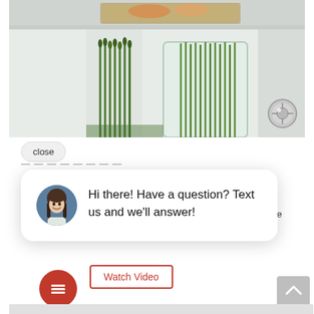[Figure (photo): Interior of a refrigerator showing green vegetables including asparagus and green onions/scallions stored in containers on shelves, with a metallic dial visible on the right side.]
close
Hi there! Have a question? Text us and we'll answer!
under
iside the
Watch Video
[Figure (illustration): Red circular chat button with white lines icon (hamburger/chat icon)]
[Figure (illustration): Gray scroll-to-top button with white upward arrow]